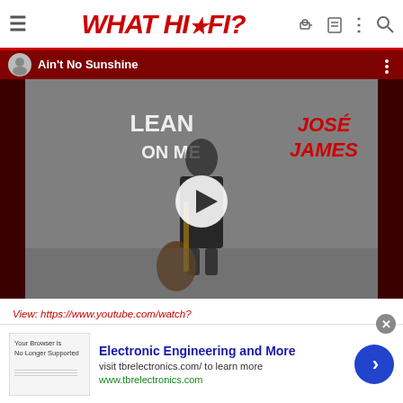WHAT HI*FI?
[Figure (screenshot): YouTube video thumbnail showing José James album cover 'Lean On Me' with song title 'Ain't No Sunshine', black and white image of man with afro holding guitar, red background bar at top showing channel avatar and video title, play button in center]
View: https://www.youtube.com/watch?v=uhHGuDwq_OQ&list=PL2VilIimvRnGwu823K4OaqDEzzInL8DEI
[Figure (screenshot): Advertisement banner for tbrelectronics.com: 'Electronic Engineering and More', visit tbrelectronics.com/ to learn more, www.tbrelectronics.com, with a blue arrow button and a small image of a web page on the left]